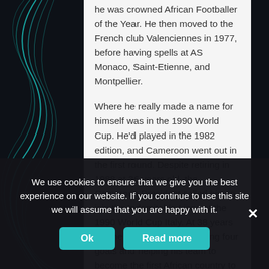he was crowned African Footballer of the Year. He then moved to the French club Valenciennes in 1977, before having spells at AS Monaco, Saint-Etienne, and Montpellier.

Where he really made a name for himself was in the 1990 World Cup. He'd played in the 1982 edition, and Cameroon went out in the first round. Despite retiring in 1988 at 36 years old, the Cameroon President called him to join the Indomitable Lions at the 1990 World Cup Italy. At 38 years old, he stole the show, scoring four goals and helping his team to become the first African country to reach the quarter-finals. He returned to the 1994 World Cup at the age of 42, to break the record as the tournament's oldest player ever. Many of his records are now broken, but his over the top
We use cookies to ensure that we give you the best experience on our website. If you continue to use this site we will assume that you are happy with it.